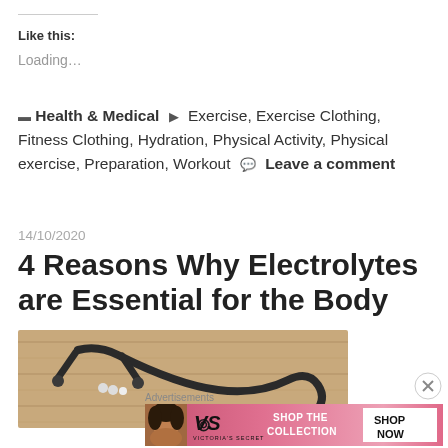Like this:
Loading...
Health & Medical  Exercise, Exercise Clothing, Fitness Clothing, Hydration, Physical Activity, Physical exercise, Preparation, Workout  Leave a comment
14/10/2020
4 Reasons Why Electrolytes are Essential for the Body
[Figure (photo): A stethoscope lying on a wooden surface, silver and black in color]
Advertisements
[Figure (infographic): Victoria's Secret advertisement banner with model, VS logo, SHOP THE COLLECTION text, and SHOP NOW button]